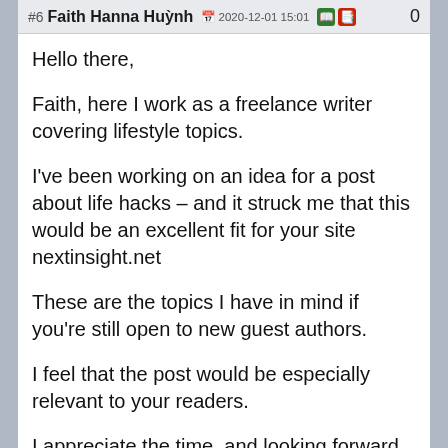#6 Faith Hanna Huỳnh  2020-12-01 15:01  0
Hello there,
Faith, here I work as a freelance writer covering lifestyle topics.
I've been working on an idea for a post about life hacks – and it struck me that this would be an excellent fit for your site nextinsight.net
These are the topics I have in mind if you're still open to new guest authors.
I feel that the post would be especially relevant to your readers.
I appreciate the time, and looking forward to